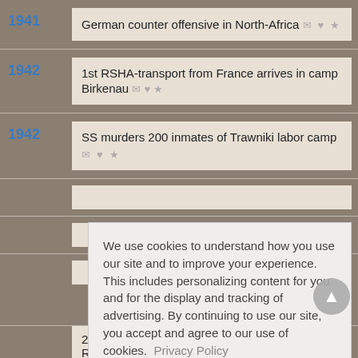1941 — German counter offensive in North-Africa
1942 — 1st RSHA-transport from France arrives in camp Birkenau
1942 — SS murders 200 inmates of Trawniki labor camp
We use cookies to understand how you use our site and to improve your experience. This includes personalizing content for you and for the display and tracking of advertising. By continuing to use our site, you accept and agree to our use of cookies. Privacy Policy
289 anti-fascists murdered by nazis in Rombergpark